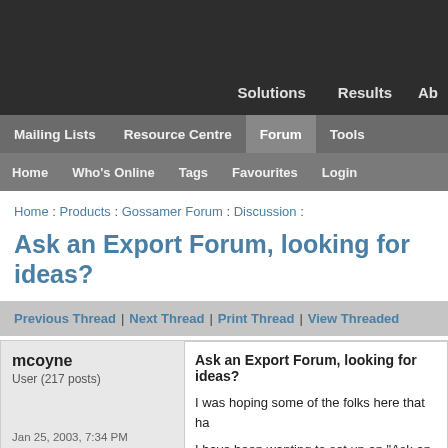Solutions  Results  Ab
Mailing Lists  Resource Centre  Forum  Tools
Home  Who's Online  Tags  Favourites  Login
Home : Products : Gossamer Forum : Discussion :
Ask an Export Forum, looking for ideas?
Previous Thread | Next Thread | Print Thread | View Threaded
mcoyne
User (217 posts)
Jan 25, 2003, 7:34 PM
Ask an Export Forum, looking for ideas?
I was hoping some of the folks here that ha

I have been wanting to set up an "Ask an E
bl...